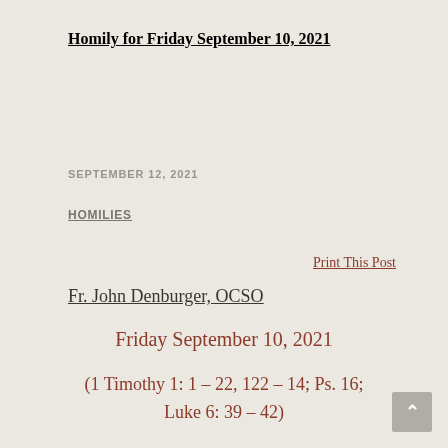Homily for Friday September 10, 2021
SEPTEMBER 12, 2021
HOMILIES
Print This Post
Fr. John Denburger, OCSO
Friday September 10, 2021
(1 Timothy 1: 1 – 22, 122 – 14; Ps. 16; Luke 6: 39 – 42)